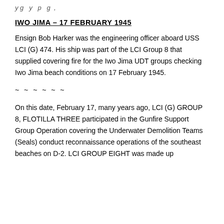y g y p g ,
IWO JIMA – 17 FEBRUARY 1945
Ensign Bob Harker was the engineering officer aboard USS LCI (G) 474. His ship was part of the LCI Group 8 that supplied covering fire for the Iwo Jima UDT groups checking Iwo Jima beach conditions on 17 February 1945.
~ ~ ~ ~ ~ ~
On this date, February 17, many years ago, LCI (G) GROUP 8, FLOTILLA THREE participated in the Gunfire Support Group Operation covering the Underwater Demolition Teams (Seals) conduct reconnaissance operations of the southeast beaches on D-2. LCI GROUP EIGHT was made up